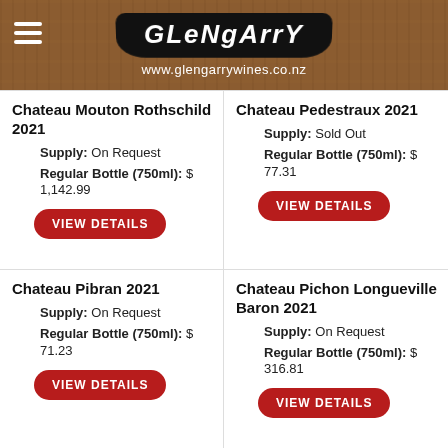GLENGARRY
www.glengarrywines.co.nz
Chateau Mouton Rothschild 2021
Supply: On Request
Regular Bottle (750ml): $ 1,142.99
VIEW DETAILS
Chateau Pedestraux 2021
Supply: Sold Out
Regular Bottle (750ml): $ 77.31
VIEW DETAILS
Chateau Pibran 2021
Supply: On Request
Regular Bottle (750ml): $ 71.23
VIEW DETAILS
Chateau Pichon Longueville Baron 2021
Supply: On Request
Regular Bottle (750ml): $ 316.81
VIEW DETAILS